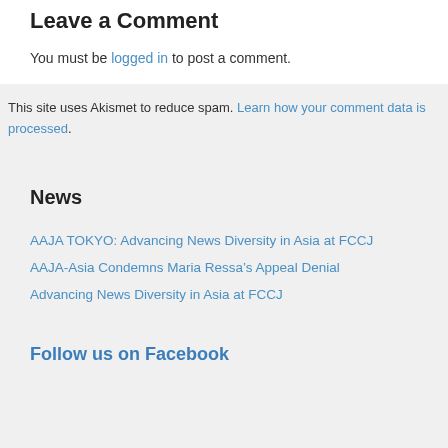Leave a Comment
You must be logged in to post a comment.
This site uses Akismet to reduce spam. Learn how your comment data is processed.
News
AAJA TOKYO: Advancing News Diversity in Asia at FCCJ
AAJA-Asia Condemns Maria Ressa’s Appeal Denial
Advancing News Diversity in Asia at FCCJ
Follow us on Facebook